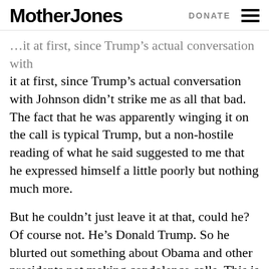Mother Jones | DONATE
it at first, since Trump's actual conversation with Johnson didn't strike me as all that bad. The fact that he was apparently winging it on the call is typical Trump, but a non-hostile reading of what he said suggested to me that he expressed himself a little poorly but nothing much more.
But he couldn't just leave it at that, could he? Of course not. He's Donald Trump. So he blurted out something about Obama and other presidents not making condolence calls. This is a typical off-the-cuff Trump lie: something vaguely plausible that he invents on the spot to defend himself. Naturally, it prompted the press to check into this, and they